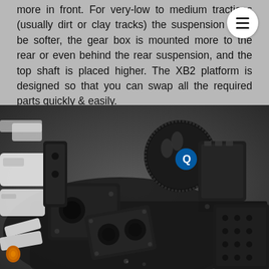more in front. For very-low to medium tractions (usually dirt or clay tracks) the suspension must be softer, the gear box is mounted more to the rear or even behind the rear suspension, and the top shaft is placed higher. The XB2 platform is designed so that you can swap all the required parts quickly & easily.
[Figure (photo): Disassembled RC car gear box and chassis components laid out on a dark surface, showing black machined metal and composite parts including differential housings, motor mount, chassis plate, and white plastic suspension parts.]